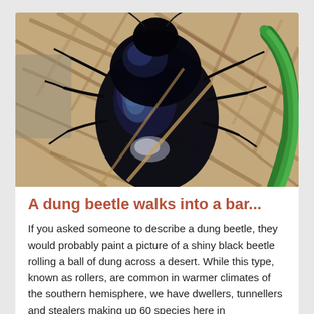[Figure (photo): Close-up photograph of a shiny black dung beetle resting on dried straw and plant debris, with a green leaf visible on the right side. The beetle has a distinctive iridescent dark shell with blue-black sheen.]
A dung beetle walks into a bar...
If you asked someone to describe a dung beetle, they would probably paint a picture of a shiny black beetle rolling a ball of dung across a desert. While this type, known as rollers, are common in warmer climates of the southern hemisphere, we have dwellers, tunnellers and stealers making up 60 species here in